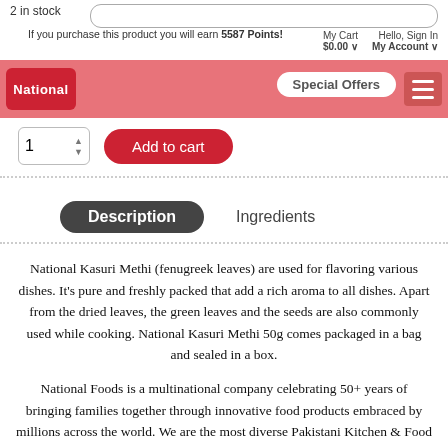2 in stock
If you purchase this product you will earn 5587 Points!
[Figure (logo): National Foods red logo]
Hello, Sign In My Account   My Cart $0.00
Special Offers
1   Add to cart
Description
Ingredients
National Kasuri Methi (fenugreek leaves) are used for flavoring various dishes. It’s pure and freshly packed that add a rich aroma to all dishes. Apart from the dried leaves, the green leaves and the seeds are also commonly used while cooking. National Kasuri Methi 50g comes packaged in a bag and sealed in a box.
National Foods is a multinational company celebrating 50+ years of bringing families together through innovative food products embraced by millions across the world. We are the most diverse Pakistani Kitchen & Food solution provider